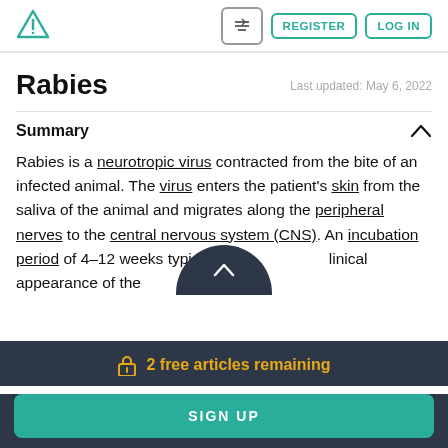Rabies — Register | Log In
Rabies
Last updated: May 6, 2022
Summary
Rabies is a neurotropic virus contracted from the bite of an infected animal. The virus enters the patient's skin from the saliva of the animal and migrates along the peripheral nerves to the central nervous system (CNS). An incubation period of 4–12 weeks typically pre…linical appearance of the
2 free articles remaining
SIGN UP